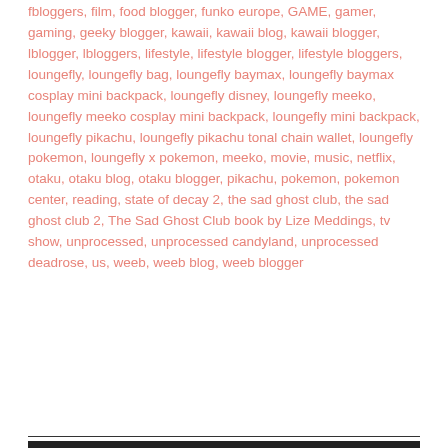fbloggers, film, food blogger, funko europe, GAME, gamer, gaming, geeky blogger, kawaii, kawaii blog, kawaii blogger, lblogger, lbloggers, lifestyle, lifestyle blogger, lifestyle bloggers, loungefly, loungefly bag, loungefly baymax, loungefly baymax cosplay mini backpack, loungefly disney, loungefly meeko, loungefly meeko cosplay mini backpack, loungefly mini backpack, loungefly pikachu, loungefly pikachu tonal chain wallet, loungefly pokemon, loungefly x pokemon, meeko, movie, music, netflix, otaku, otaku blog, otaku blogger, pikachu, pokemon, pokemon center, reading, state of decay 2, the sad ghost club, the sad ghost club 2, The Sad Ghost Club book by Lize Meddings, tv show, unprocessed, unprocessed candyland, unprocessed deadrose, us, weeb, weeb blog, weeb blogger